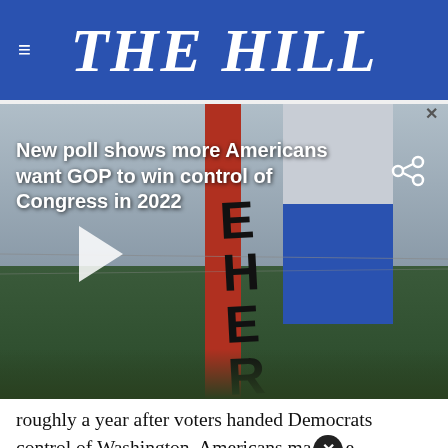THE HILL
[Figure (screenshot): Video thumbnail showing a political rally scene with a red stripe banner and a flag with letters 'HERE', overlaid with white text reading 'New poll shows more Americans want GOP to win control of Congress in 2022' and a play button]
roughly a year after voters handed Democrats control of Washington, Americans ma[x]e feelin[...] of the...
[Figure (photo): Ad banner showing 'Veterans,' text over dark background with a person in military-style seating]
Republicans need to net just five seats in the